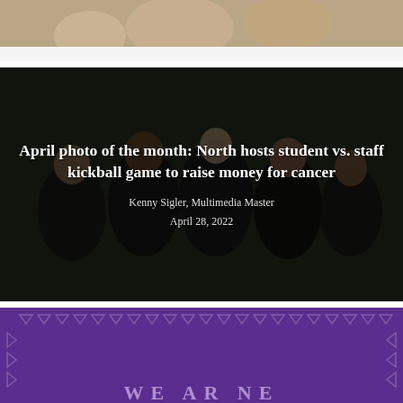[Figure (photo): Partial top image strip showing people, cropped at top of page]
[Figure (photo): Dark photo of group of students/staff in black t-shirts at night on a field, with overlay text article card]
April photo of the month: North hosts student vs. staff kickball game to raise money for cancer
Kenny Sigler, Multimedia Master
April 28, 2022
[Figure (illustration): Purple background card with decorative triangle/chevron border pattern and partial text 'WE AR NE' visible at bottom]